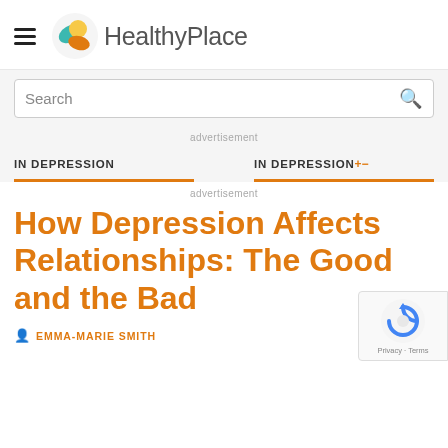HealthyPlace
Search
advertisement
IN DEPRESSION
IN DEPRESSION+-
advertisement
How Depression Affects Relationships: The Good and the Bad
EMMA-MARIE SMITH